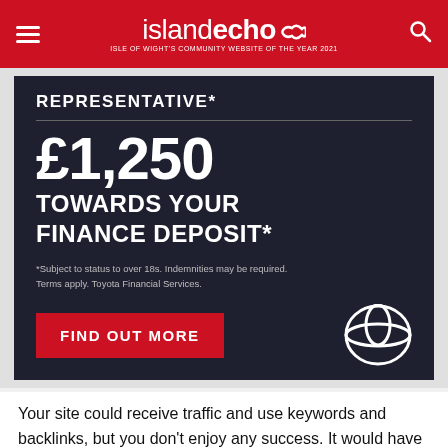islandecho — Isle of Wight's Community Website of the Year 2021
[Figure (infographic): Toyota finance advertisement on dark navy background. Shows 'REPRESENTATIVE*' heading, '£1,250 TOWARDS YOUR FINANCE DEPOSIT*' offer, disclaimer text '*Subject to status to over 18s. Indemnities may be required. Terms apply. Toyota Financial Services.', a red 'FIND OUT MORE' button, and Toyota logo.]
Your site could receive traffic and use keywords and backlinks, but you don't enjoy any success. It would have worked years ago, but an effective SEO strategy currently